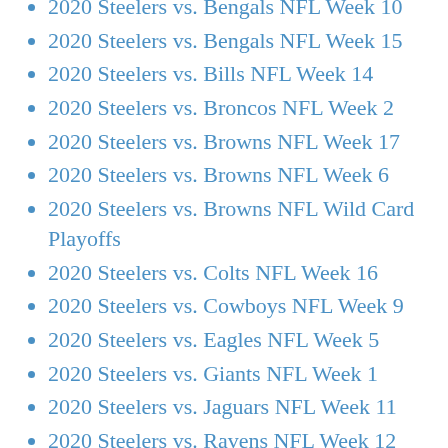2020 Steelers vs. Bengals NFL Week 10
2020 Steelers vs. Bengals NFL Week 15
2020 Steelers vs. Bills NFL Week 14
2020 Steelers vs. Broncos NFL Week 2
2020 Steelers vs. Browns NFL Week 17
2020 Steelers vs. Browns NFL Week 6
2020 Steelers vs. Browns NFL Wild Card Playoffs
2020 Steelers vs. Colts NFL Week 16
2020 Steelers vs. Cowboys NFL Week 9
2020 Steelers vs. Eagles NFL Week 5
2020 Steelers vs. Giants NFL Week 1
2020 Steelers vs. Jaguars NFL Week 11
2020 Steelers vs. Ravens NFL Week 12
2020 Steelers vs. Ravens NFL Week 8
2020 Steelers vs. Texans NFL Week 3
2020 Steelers vs. Titans NFL Week 4